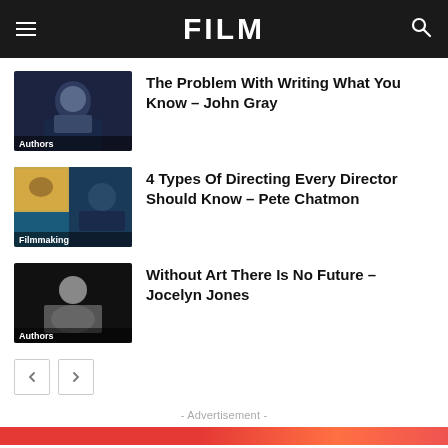FILM
[Figure (photo): Man with grey beard in dark shirt gesturing, with Authors label]
The Problem With Writing What You Know – John Gray
[Figure (photo): Composite: outdoor scene and man with cap gesturing, with Filmmaking label]
4 Types Of Directing Every Director Should Know – Pete Chatmon
[Figure (photo): Woman with light hair raising hand, with Authors label]
Without Art There Is No Future – Jocelyn Jones
- Advertisement -